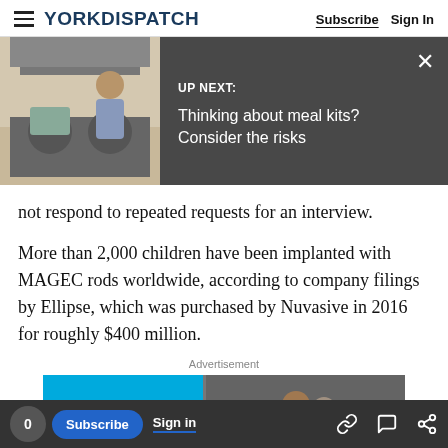YORK DISPATCH — Subscribe | Sign In
[Figure (screenshot): UP NEXT banner showing a kitchen scene with a woman cooking. Text reads: 'UP NEXT: Thinking about meal kits? Consider the risks']
not respond to repeated requests for an interview.
More than 2,000 children have been implanted with MAGEC rods worldwide, according to company filings by Ellipse, which was purchased by Nuvasive in 2016 for roughly $400 million.
Advertisement
[Figure (screenshot): Advertisement banner with blue and grey sections showing people]
0 | Subscribe | Sign in | [link icon] [comment icon] [share icon]